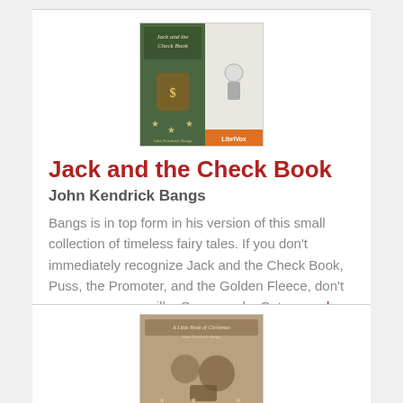[Figure (illustration): Book cover of 'Jack and the Check Book' by John Kendrick Bangs, showing a composite cover with a decorated shield and stars on the left and a fairy tale illustration on the right, with LibriVox logo]
Jack and the Check Book
John Kendrick Bangs
Bangs is in top form in his version of this small collection of timeless fairy tales. If you don't immediately recognize Jack and the Check Book, Puss, the Promoter, and the Golden Fleece, don't worry, you soon will. - Summary by Cate...read more
[Figure (illustration): Book cover of 'A Little Book of Christmas' by John Kendrick Bangs, showing a vintage sepia-toned image with holiday figures]